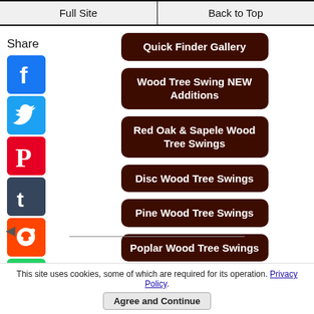Full Site | Back to Top
Quick Finder Gallery
Wood Tree Swing NEW Additions
Red Oak & Sapele Wood Tree Swings
Disc Wood Tree Swings
Pine Wood Tree Swings
Poplar Wood Tree Swings
Share
This site uses cookies, some of which are required for its operation. Privacy Policy. Agree and Continue